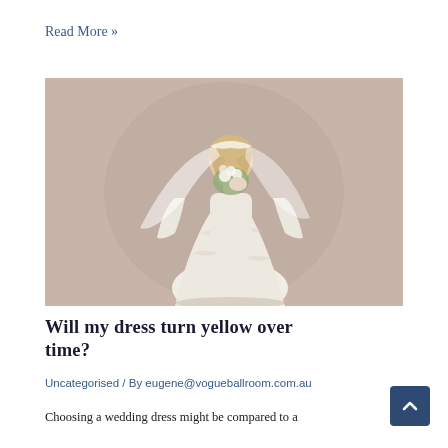Read More »
[Figure (photo): A bride in a long-sleeved white lace wedding dress with a flowing veil, holding a small bouquet in front of her face, standing against a neutral beige background.]
Will my dress turn yellow over time?
Uncategorised / By eugene@vogueballroom.com.au
Choosing a wedding dress might be compared to a